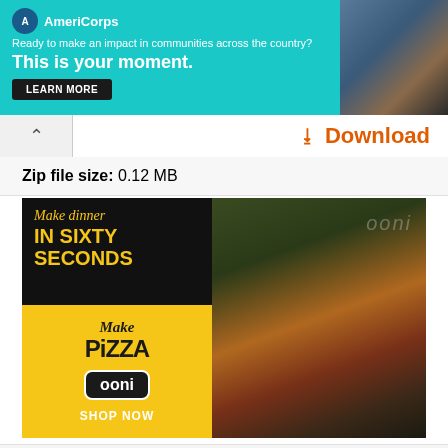[Figure (photo): AmeriCorps advertisement banner with teal background. Text reads: 'AmeriCorps — Ready to make an impact in communities across the country? This is your moment. LEARN MORE'. A photo of a person is on the right side.]
^ Download
Zip file size:  0.12 MB
[Figure (photo): Ooni pizza oven advertisement. Left panel: dark background with yellow text 'Make dinner IN SIXTY SECONDS', yellow panel below with 'Make PIZZA' in cursive and block letters, Ooni logo in black badge, 'SHOP NOW' text. Right panel: photo of a pizza with toppings on a metal baking sheet with 'ooni' text visible.]
Version  10.0.14393.0
Architecture  32